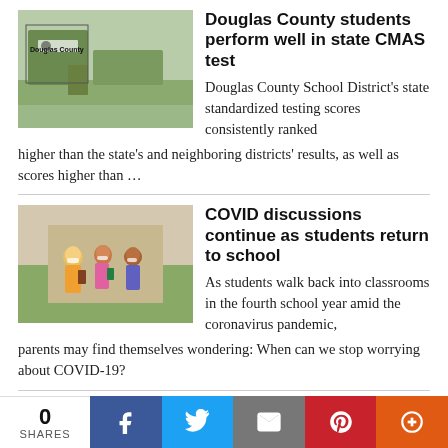Douglas County students perform well in state CMAS test
Douglas County School District's state standardized testing scores consistently ranked higher than the state's and neighboring districts' results, as well as scores higher than …
[Figure (photo): Douglas County school district sign outdoors]
COVID discussions continue as students return to school
As students walk back into classrooms in the fourth school year amid the coronavirus pandemic, parents may find themselves wondering: When can we stop worrying about COVID-19?
[Figure (photo): Students wearing masks walking outside]
PHOTO GALLERY: Thornton pups get their time in the pool
The City of Thornton  closed the  City Pool at 95th and Vine in the traditional way Aug. 20; Opening the facility to dogs and their owners for a good soak. Dogs of various sizes and …
[Figure (photo): Dog in orange life vest in a pool]
0 SHARES